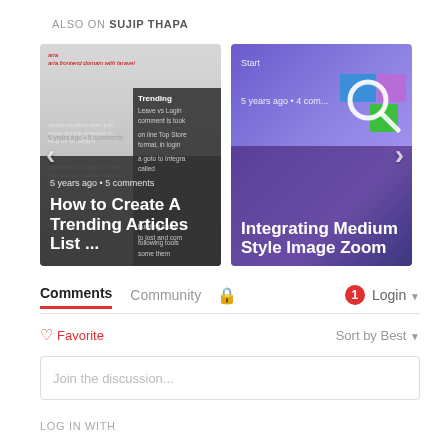ALSO ON SUJIP THAPA
[Figure (screenshot): Carousel of two article preview cards. Left card: 'How to Create A Trending Articles List ...' with meta '5 years ago • 5 comments'. Right card: 'Integrating Medium Style Image Zoom' with meta '5 years ago • 4 com...' and label 'Start'. Left arrow and right arrow navigation controls visible.]
Comments	Community	🔒	1	Login ▾
♡ Favorite	Sort by Best ▾
Join the discussion...
LOG IN WITH